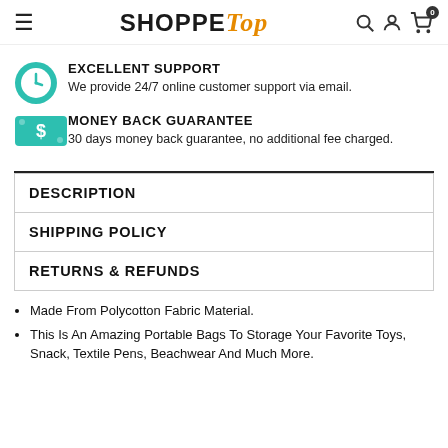SHOPPE Top (logo with navigation icons)
EXCELLENT SUPPORT
We provide 24/7 online customer support via email.
MONEY BACK GUARANTEE
30 days money back guarantee, no additional fee charged.
| DESCRIPTION |
| SHIPPING POLICY |
| RETURNS & REFUNDS |
Made From Polycotton Fabric Material.
This Is An Amazing Portable Bags To Storage Your Favorite Toys, Snack, Textile Pens, Beachwear And Much More.